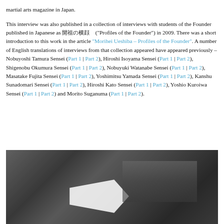martial arts magazine in Japan.
This interview was also published in a collection of interviews with students of the Founder published in Japanese as 開祖の横顔 ("Profiles of the Founder") in 2009. There was a short introduction to this work in the article "Morihei Ueshiba – Profiles of the Founder". A number of English translations of interviews from that collection appeared have appeared previously – Nobuyoshi Tamura Sensei (Part 1 | Part 2), Hiroshi Isoyama Sensei (Part 1 | Part 2), Shigenobu Okumura Sensei (Part 1 | Part 2), Nobuyuki Watanabe Sensei (Part 1 | Part 2), Masatake Fujita Sensei (Part 1 | Part 2), Yoshimitsu Yamada Sensei (Part 1 | Part 2), Kanshu Sunadomari Sensei (Part 1 | Part 2), Hiroshi Kato Sensei (Part 1 | Part 2), Yoshio Kuroiwa Sensei (Part 1 | Part 2) and Morito Suganuma (Part 1 | Part 2).
[Figure (photo): Black and white photograph, partially visible, showing a dark scene with a bright white angular shape in the center-lower area.]